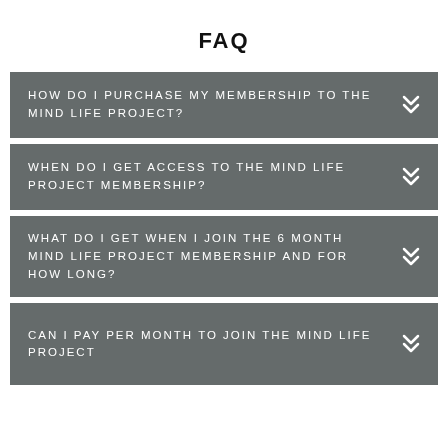FAQ
HOW DO I PURCHASE MY MEMBERSHIP TO THE MIND LIFE PROJECT?
WHEN DO I GET ACCESS TO THE MIND LIFE PROJECT MEMBERSHIP?
WHAT DO I GET WHEN I JOIN THE 6 MONTH MIND LIFE PROJECT MEMBERSHIP AND FOR HOW LONG?
CAN I PAY PER MONTH TO JOIN THE MIND LIFE PROJECT